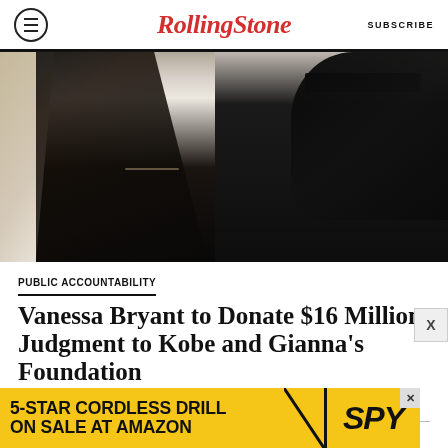RollingStone | SUBSCRIBE
[Figure (photo): Two women with dark hair, one wearing white blazer and one wearing black sleeveless top with sunglasses, photographed outdoors]
PUBLIC ACCOUNTABILITY
Vanessa Bryant to Donate $16 Million Judgment to Kobe and Gianna's Foundation
BY DANIEL KREPS
READ MORE
[Figure (other): Advertisement banner: 5-STAR CORDLESS DRILL ON SALE AT AMAZON / SPY logo]